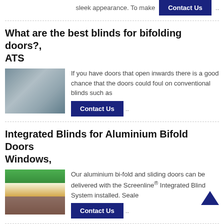sleek appearance. To make
Contact Us ..
What are the best blinds for bifolding doors?, ATS
[Figure (photo): Photo of a glass building facade with blue/grey tones]
If you have doors that open inwards there is a good chance that the doors could foul on conventional blinds such as
Contact Us ..
Integrated Blinds for Aluminium Bifold Doors Windows,
[Figure (photo): Photo of a modern house with aluminium bifold doors and green surroundings]
Our aluminium bi-fold and sliding doors can be delivered with the Screenline® Integrated Blind System installed. Seale
Contact Us ..
What blinds are best for bi fold doors, Barlow Blinds